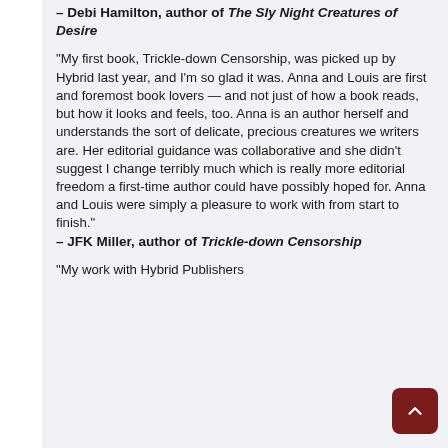– Debi Hamilton, author of The Sly Night Creatures of Desire
"My first book, Trickle-down Censorship, was picked up by Hybrid last year, and I'm so glad it was. Anna and Louis are first and foremost book lovers — and not just of how a book reads, but how it looks and feels, too. Anna is an author herself and understands the sort of delicate, precious creatures we writers are. Her editorial guidance was collaborative and she didn't suggest I change terribly much which is really more editorial freedom a first-time author could have possibly hoped for. Anna and Louis were simply a pleasure to work with from start to finish."
– JFK Miller, author of Trickle-down Censorship
"My work with Hybrid Publishers